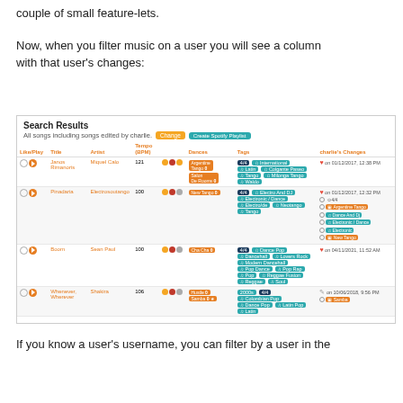couple of small feature-lets.
Now, when you filter music on a user you will see a column with that user's changes:
[Figure (screenshot): Screenshot of a music search results table showing songs with columns for Like/Play, Title, Artist, Tempo (BPM), mood icons, Dances, Tags, and charlie's Changes. Songs shown: Janos Rimanoris by Miquel Calo, Pinadaria by Electrosoutango, Boom by Sean Paul, Whenever Wherever by Shakira. Each row shows charlie's changes with hearts, dates, and change tags.]
If you know a user's username, you can filter by a user in the